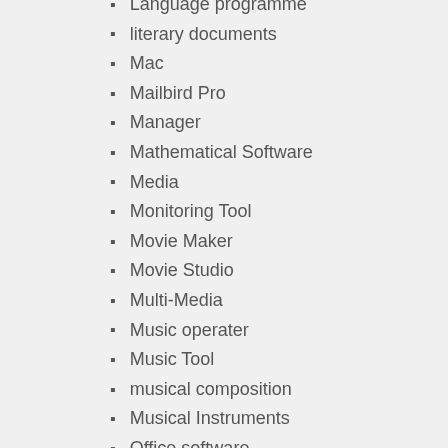Language programme
literary documents
Mac
Mailbird Pro
Manager
Mathematical Software
Media
Monitoring Tool
Movie Maker
Movie Studio
Multi-Media
Music operater
Music Tool
musical composition
Musical Instruments
Office software
Operating Systems